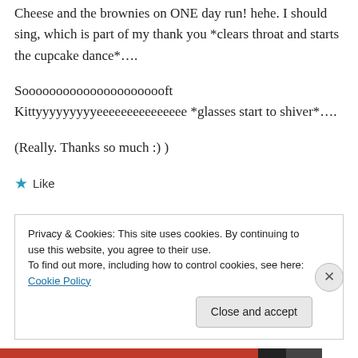Cheese and the brownies on ONE day run! hehe. I should sing, which is part of my thank you *clears throat and starts the cupcake dance*....
Soooooooooooooooooooooft Kittyyyyyyyyyeeeeeeeeeeeeeee *glasses start to shiver*....
(Really. Thanks so much :) )
★ Like
Privacy & Cookies: This site uses cookies. By continuing to use this website, you agree to their use.
To find out more, including how to control cookies, see here: Cookie Policy
Close and accept